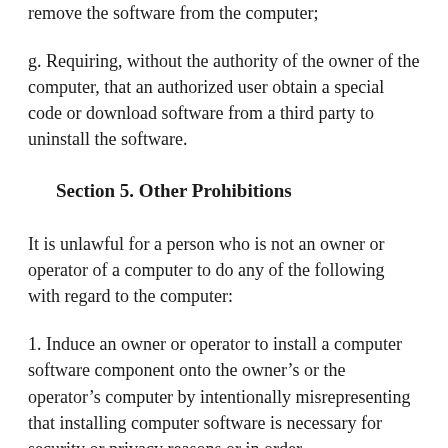remove the software from the computer;
g. Requiring, without the authority of the owner of the computer, that an authorized user obtain a special code or download software from a third party to uninstall the software.
Section 5.  Other Prohibitions
It is unlawful for a person who is not an owner or operator of a computer to do any of the following with regard to the computer:
1.  Induce an owner or operator to install a computer software component onto the owner’s or the operator’s computer by intentionally misrepresenting that installing computer software is necessary for security or privacy reasons or in order